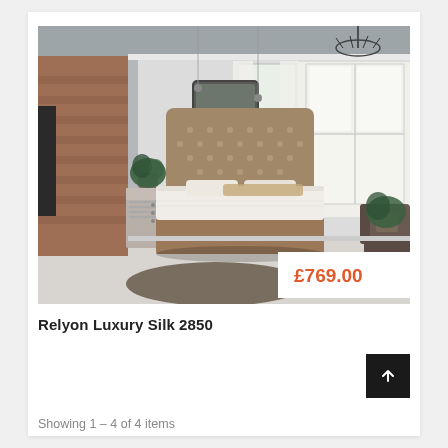[Figure (photo): Bedroom scene showing a luxury upholstered bed with tufted headboard in beige/taupe fabric, white pillow-top mattress, light grey walls, chandelier, windows with white shutters, brick wall on left, potted plants, armchair on right, dark fur rug on floor. Price badge showing £769.00 overlaid on bottom-right of image.]
Relyon Luxury Silk 2850
Showing 1 – 4 of 4 items